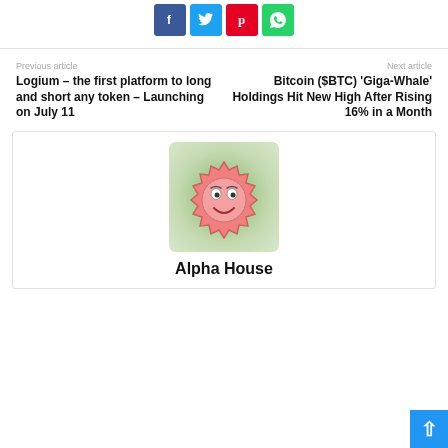[Figure (other): Social share buttons: Facebook (blue), Twitter (cyan), Pinterest (red), WhatsApp (green)]
Previous article
Logium – the first platform to long and short any token – Launching on July 11
Next article
Bitcoin ($BTC) 'Giga-Whale' Holdings Hit New High After Rising 16% in a Month
[Figure (illustration): Alpha House author avatar: pink gear/cog character with a smiley face on green background]
Alpha House